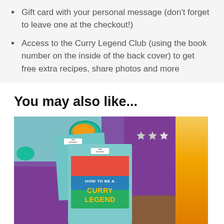Gift card with your personal message (don't forget to leave one at the checkout!)
Access to the Curry Legend Club (using the book number on the inside of the back cover) to get free extra recipes, share photos and more
You may also like...
[Figure (photo): Photo of The Spicery 'How to be a Curry Legend' cookbook held up against a purple fabric background with spice bowls and a yellow spice kit box. Three stars visible in upper right area.]